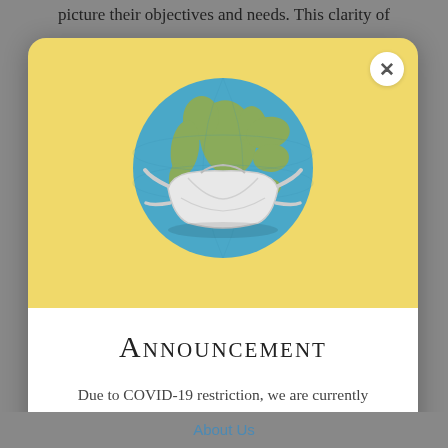picture their objectives and needs. This clarity of
[Figure (illustration): Globe/Earth wearing a white N95 face mask, on a yellow background inside a modal dialog popup with a close (X) button in the top right corner.]
Announcement
Due to COVID-19 restriction, we are currently working through appointment only for the following services: Auto Insurance, Income Tax and Fingerprint Scan.
About Us